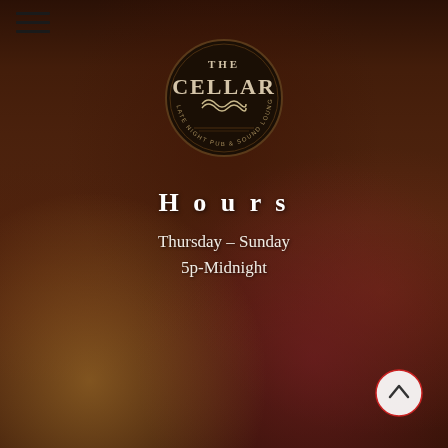[Figure (photo): Background photo of cocktail drinks on a table in a dimly lit bar setting, with a person smiling in the background]
[Figure (logo): The Cellar - Late Night Pub & Sound Lounge circular logo, dark background with white decorative text and ornamental flourishes]
Hours
Thursday – Sunday
5p-Midnight
[Figure (other): Back to top navigation button - circular button with upward chevron arrow, white background with red border accent]